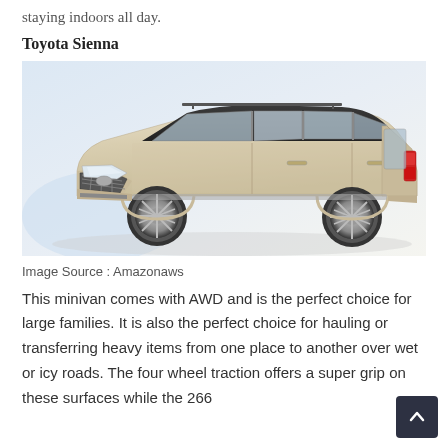staying indoors all day.
Toyota Sienna
[Figure (photo): Toyota Sienna minivan in champagne/beige color, three-quarter front view, shown against a light blue-white gradient background]
Image Source : Amazonaws
This minivan comes with AWD and is the perfect choice for large families. It is also the perfect choice for hauling or transferring heavy items from one place to another over wet or icy roads. The four wheel traction offers a super grip on these surfaces while the 266